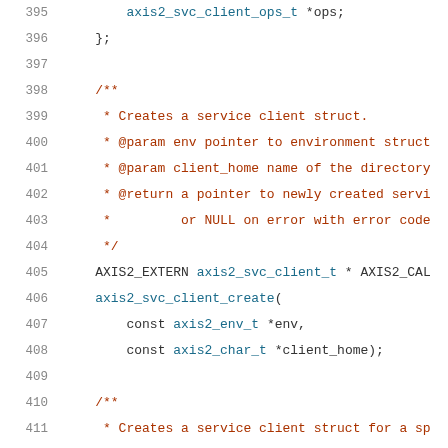[Figure (screenshot): Source code listing lines 395-415 of a C header file showing axis2_svc_client struct and function declarations with line numbers, dark red comments and teal identifiers on white background.]